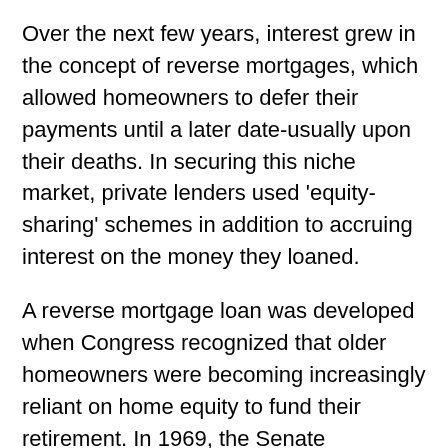Over the next few years, interest grew in the concept of reverse mortgages, which allowed homeowners to defer their payments until a later date-usually upon their deaths. In securing this niche market, private lenders used 'equity-sharing' schemes in addition to accruing interest on the money they loaned.
A reverse mortgage loan was developed when Congress recognized that older homeowners were becoming increasingly reliant on home equity to fund their retirement. In 1969, the Senate Committee on Aging held its first hearing on a possible government role in such a program.
In 1987, Congress formalized the Home Equity Conversion Mortgage as part of an insurance bill nearly two decades later. The nation's first federally-insured reverse mortgage was first offered as a pilot program, the lender was a part of an insurance bill nearly